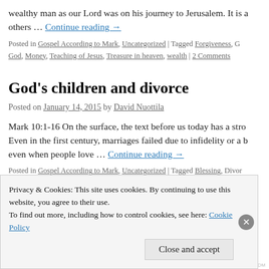wealthy man as our Lord was on his journey to Jerusalem. It is a others … Continue reading →
Posted in Gospel According to Mark, Uncategorized | Tagged Forgiveness, G God, Money, Teaching of Jesus, Treasure in heaven, wealth | 2 Comments
God's children and divorce
Posted on January 14, 2015 by David Nuottila
Mark 10:1-16 On the surface, the text before us today has a stro Even in the first century, marriages failed due to infidelity or a b even when people love … Continue reading →
Posted in Gospel According to Mark, Uncategorized | Tagged Blessing, Divor Jesus Christ, Marriage, Relationships, Repentance, Teaching of Jesus | Leav
Privacy & Cookies: This site uses cookies. By continuing to use this website, you agree to their use.
To find out more, including how to control cookies, see here: Cookie Policy
Close and accept